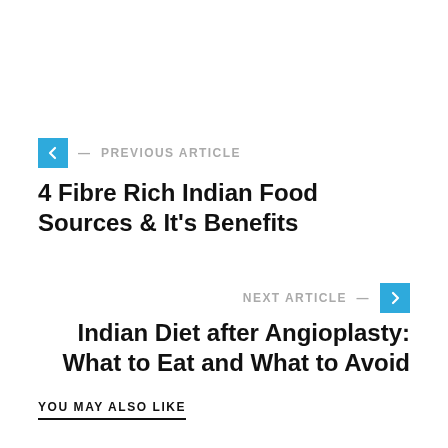← PREVIOUS ARTICLE
4 Fibre Rich Indian Food Sources & It's Benefits
NEXT ARTICLE →
Indian Diet after Angioplasty: What to Eat and What to Avoid
YOU MAY ALSO LIKE